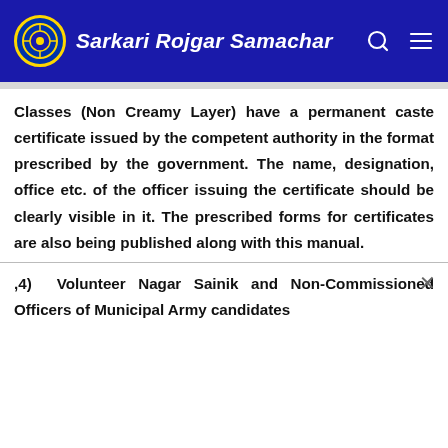Sarkari Rojgar Samachar
Classes (Non Creamy Layer) have a permanent caste certificate issued by the competent authority in the format prescribed by the government. The name, designation, office etc. of the officer issuing the certificate should be clearly visible in it. The prescribed forms for certificates are also being published along with this manual.
,4) Volunteer Nagar Sainik and Non-Commissioned Officers of Municipal Army candidates